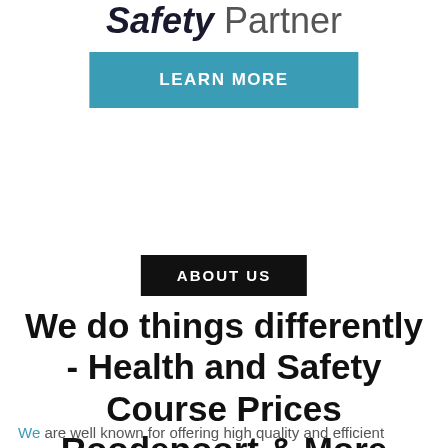Safety Partner
LEARN MORE
ABOUT US
We do things differently - Health and Safety Course Prices Roodepoort & More
We are well known for offering high quality and efficient